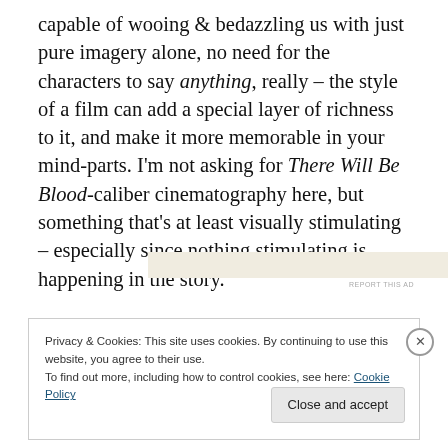capable of wooing & bedazzling us with just pure imagery alone, no need for the characters to say anything, really – the style of a film can add a special layer of richness to it, and make it more memorable in your mind-parts. I'm not asking for There Will Be Blood-caliber cinematography here, but something that's at least visually stimulating – especially since nothing stimulating is happening in the story.
[Figure (other): Advertisement banner placeholder]
Privacy & Cookies: This site uses cookies. By continuing to use this website, you agree to their use. To find out more, including how to control cookies, see here: Cookie Policy